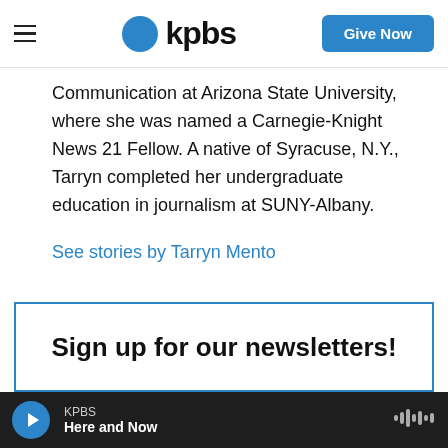KPBS | Give Now
Communication at Arizona State University, where she was named a Carnegie-Knight News 21 Fellow. A native of Syracuse, N.Y., Tarryn completed her undergraduate education in journalism at SUNY-Albany.
See stories by Tarryn Mento
Sign up for our newsletters!
KPBS | Here and Now